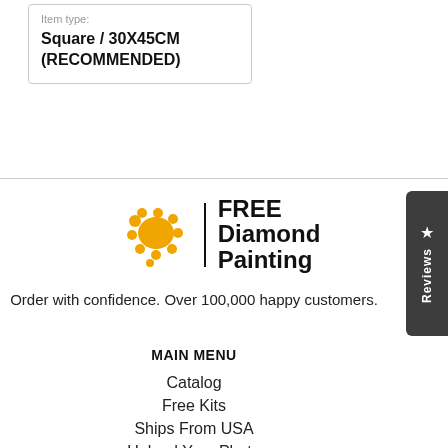Item type:
Square / 30X45CM (RECOMMENDED)
[Figure (logo): FREE Diamond Painting logo with orange splat graphic and vertical black divider bar, bold black text]
Order with confidence. Over 100,000 happy customers.
MAIN MENU
Catalog
Free Kits
Ships From USA
Upload Your Photo